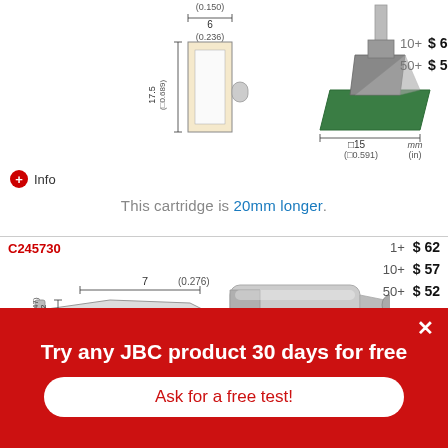[Figure (engineering-diagram): Technical drawing of a soldering cartridge tip with square profile and 3D rendering. Dimensions shown: 6mm (0.236in) width, 17.5mm (0.689in) length, square cross-section 0.689in, component area 15mm (0.591in). Units: mm (in). Pricing: 10+ $63, 50+ $57.]
Info
This cartridge is 20mm longer.
[Figure (engineering-diagram): Technical drawing of soldering cartridge C245730 with chisel tip and 3D rendering. Dimensions shown: 7mm (0.276in) length, 1.2mm (0.047in) height. Pricing: 1+ $62, 10+ $57, 50+ $52.]
C245730
Try any JBC product 30 days for free
Ask for a free test!